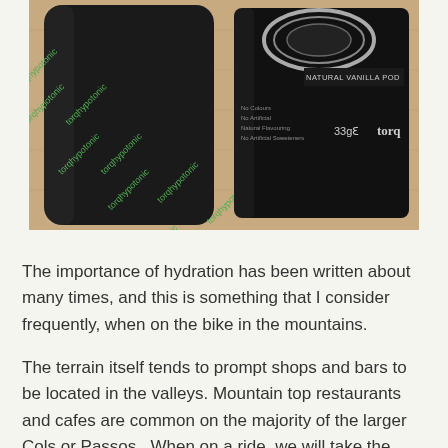[Figure (photo): Two black product packaging items (TORQ hypotonic drink mix sachets) lying on a wooden surface. The left item is a cylindrical/rolled package with green 'torqhypotonic' text printed repeatedly. The right item is a flat sachet labeled 'NATURAL VANILLA POD', showing '33g' and 'TORQ' branding, with small text listing product attributes.]
The importance of hydration has been written about many times, and this is something that I consider frequently, when on the bike in the mountains.
The terrain itself tends to prompt shops and bars to be located in the valleys. Mountain top restaurants and cafes are common on the majority of the larger Cols or Passos.  When on a ride, we will take the opportunity to buy water when the chance arises,